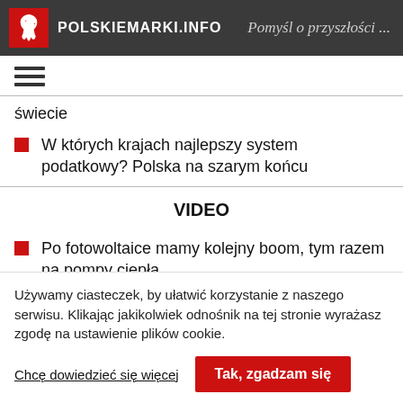POLSKIEMARKI.INFO — Pomyśl o przyszłości ...
świecie
W których krajach najlepszy system podatkowy? Polska na szarym końcu
VIDEO
Po fotowoltaice mamy kolejny boom, tym razem na pompy ciepła
Używamy ciasteczek, by ułatwić korzystanie z naszego serwisu. Klikając jakikolwiek odnośnik na tej stronie wyrażasz zgodę na ustawienie plików cookie.
Chcę dowiedzieć się więcej | Tak, zgadzam się